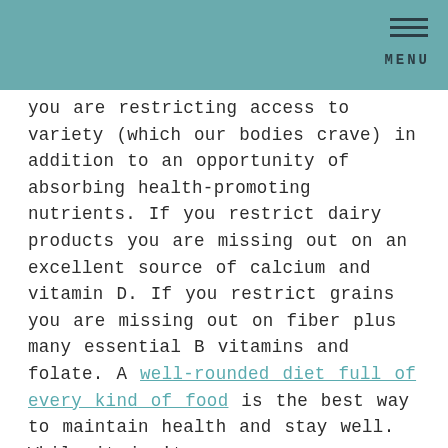MENU
you are restricting access to variety (which our bodies crave) in addition to an opportunity of absorbing health-promoting nutrients. If you restrict dairy products you are missing out on an excellent source of calcium and vitamin D. If you restrict grains you are missing out on fiber plus many essential B vitamins and folate. A well-rounded diet full of every kind of food is the best way to maintain health and stay well. While it isn't as sexy as eliminating specific foods, the best way to take care of your body and overall health is to eat a variety of foods, and not let an unnecessary